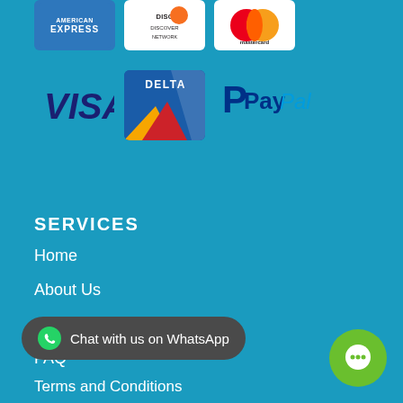[Figure (logo): Payment method logos: American Express, Discover Network, Mastercard, Visa, Delta, PayPal]
SERVICES
Home
About Us
Contact Us
FAQ
Chat with us on WhatsApp
Terms and Conditions